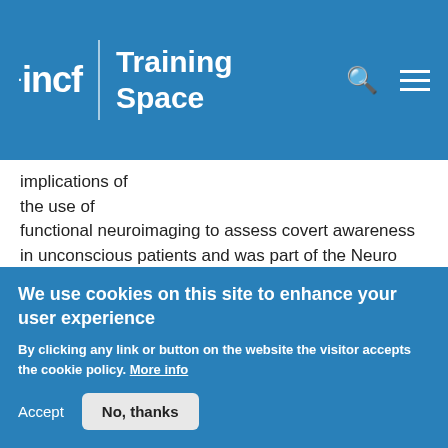incf | Training Space
implications of the use of functional neuroimaging to assess covert awareness in unconscious patients and was part of the Neuro Day Workshop held by the NeuroSchool of Aix Marseille University.
Difficulty level:   Beginner
Duration: 1:00:50
Speaker: : Athena Demertzi
We use cookies on this site to enhance your user experience
By clicking any link or button on the website the visitor accepts the cookie policy. More info
Accept   No, thanks